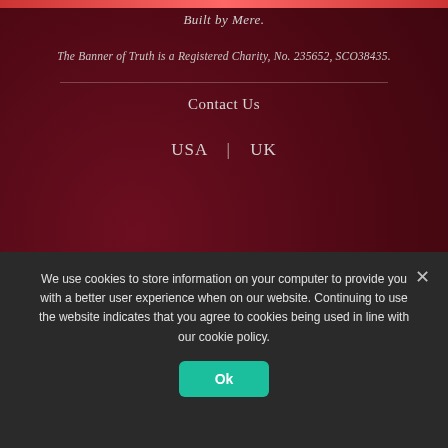Built by Mere.
The Banner of Truth is a Registered Charity, No. 235652, SCO38435.
Contact Us
USA | UK
EMAIL NEWSLETTER
Sign up to receive a regular digest of fresh Banner of Truth resources and blog articles.
NEWSLETTERS
We use cookies to store information on your computer to provide you with a better user experience when on our website. Continuing to use the website indicates that you agree to cookies being used in line with our cookie policy.
Ok